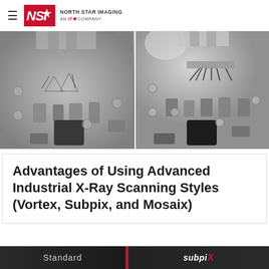NSI - North Star Imaging, An ITW Company
[Figure (photo): Two side-by-side grayscale X-ray images of an electronic circuit board, showing component details and wire bonds. Left image appears to be a standard scan; right image appears to be a higher-resolution or differently processed scan of the same board area.]
Advantages of Using Advanced Industrial X-Ray Scanning Styles (Vortex, Subpix, and Mosaix)
[Figure (photo): Bottom strip showing two X-ray image panels labeled 'Standard' on the left and 'subpiX' on the right, separated by a red vertical line.]